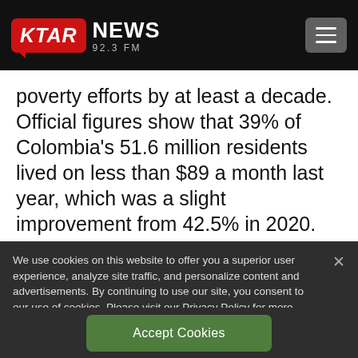KTAR NEWS 92.3 FM
poverty efforts by at least a decade. Official figures show that 39% of Colombia’s 51.6 million residents lived on less than $89 a month last year, which was a slight improvement from 42.5% in 2020.
We use cookies on this website to offer you a superior user experience, analyze site traffic, and personalize content and advertisements. By continuing to use our site, you consent to our use of cookies. Please visit our Privacy Policy for more information.
Accept Cookies